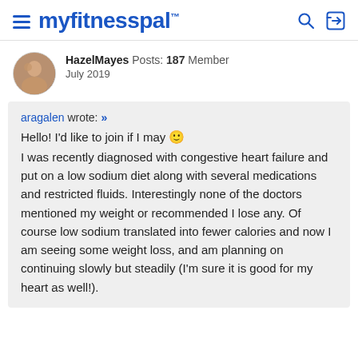myfitnesspal
HazelMayes  Posts: 187  Member
July 2019
aragalen wrote: »
Hello! I'd like to join if I may 🙂
I was recently diagnosed with congestive heart failure and put on a low sodium diet along with several medications and restricted fluids. Interestingly none of the doctors mentioned my weight or recommended I lose any. Of course low sodium translated into fewer calories and now I am seeing some weight loss, and am planning on continuing slowly but steadily (I'm sure it is good for my heart as well!).